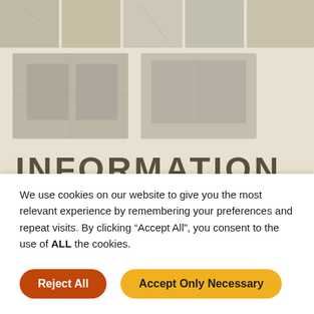[Figure (photo): Top strip of apartment interior thumbnail photos — 5 thumbnails across the top]
[Figure (photo): Second row with two larger apartment interior photos side by side — corridor/hallway and open atrium/courtyard]
INFORMATION
CATEGORY:  Classic and modern apartments
Lofts And Open Spaces
We use cookies on our website to give you the most relevant experience by remembering your preferences and repeat visits. By clicking "Accept All", you consent to the use of ALL the cookies.
Reject All
Accept Only Necessary